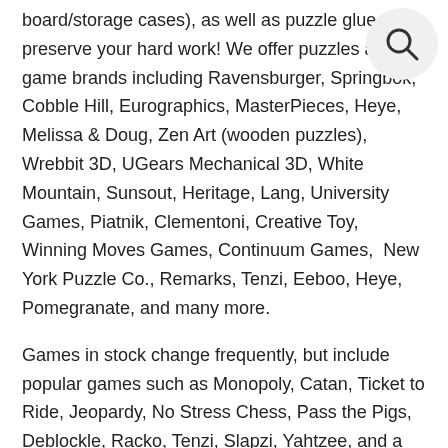board/storage cases), as well as puzzle glue to preserve your hard work! We offer puzzles and game brands including Ravensburger, Springbok, Cobble Hill, Eurographics, MasterPieces, Heye, Melissa & Doug, Zen Art (wooden puzzles), Wrebbit 3D, UGears Mechanical 3D, White Mountain, Sunsout, Heritage, Lang, University Games, Piatnik, Clementoni, Creative Toy, Winning Moves Games, Continuum Games, New York Puzzle Co., Remarks, Tenzi, Eeboo, Heye, Pomegranate, and many more.
Games in stock change frequently, but include popular games such as Monopoly, Catan, Ticket to Ride, Jeopardy, No Stress Chess, Pass the Pigs, Deblockle, Racko, Tenzi, Slapzi, Yahtzee, and a variety of dice and card games.
Puzzles for children!
For children we carry Melissa & Doug, Ravensburger, Masterpieces, Eeboo and other popular brand puzzles and